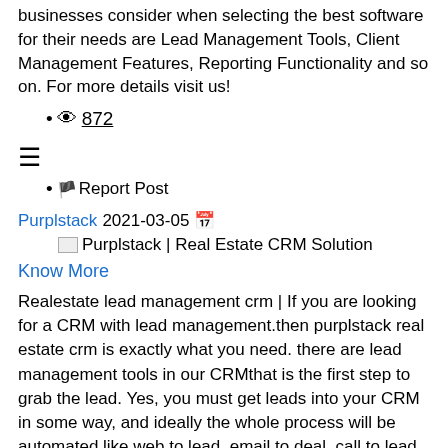businesses consider when selecting the best software for their needs are Lead Management Tools, Client Management Features, Reporting Functionality and so on. For more details visit us!
👁 872
🚩 Report Post
Purplstack 2021-03-05 📅
[Figure (other): Broken image placeholder next to text: Purplstack | Real Estate CRM Solution]
Know More
Realestate lead management crm | If you are looking for a CRM with lead management.then purplstack real estate crm is exactly what you need. there are lead management tools in our CRMthat is the first step to grab the lead. Yes, you must get leads into your CRM in some way, and ideally the whole process will be automated like web to lead, email to deal, call to lead, social to lead, etc - they are all supported. The next step is lead enrichment, which involves collecting as much information as possible about your future client. Then you must divide leads to your salespeople